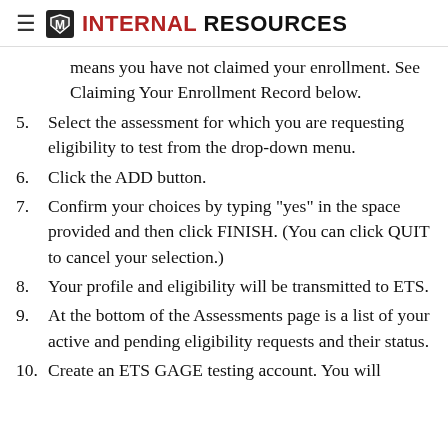INTERNAL RESOURCES
means you have not claimed your enrollment. See Claiming Your Enrollment Record below.
5. Select the assessment for which you are requesting eligibility to test from the drop-down menu.
6. Click the ADD button.
7. Confirm your choices by typing "yes" in the space provided and then click FINISH. (You can click QUIT to cancel your selection.)
8. Your profile and eligibility will be transmitted to ETS.
9. At the bottom of the Assessments page is a list of your active and pending eligibility requests and their status.
10. Create an ETS GAGE testing account. You will